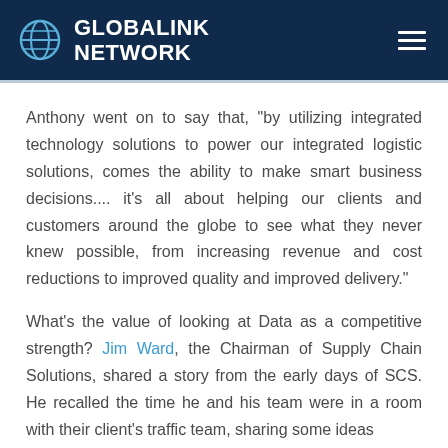GLOBALINK NETWORK
Anthony went on to say that, “by utilizing integrated technology solutions to power our integrated logistic solutions, comes the ability to make smart business decisions.... it’s all about helping our clients and customers around the globe to see what they never knew possible, from increasing revenue and cost reductions to improved quality and improved delivery.”
What’s the value of looking at Data as a competitive strength? Jim Ward, the Chairman of Supply Chain Solutions, shared a story from the early days of SCS. He recalled the time he and his team were in a room with their client’s traffic team, sharing some ideas